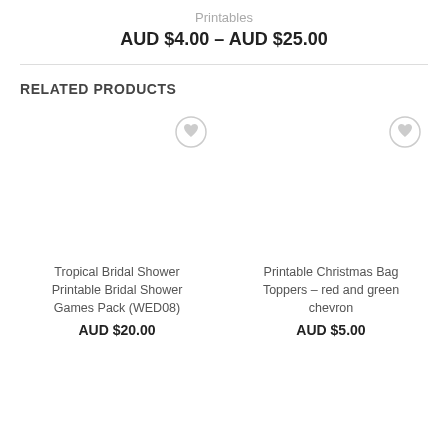Printables
AUD $4.00 – AUD $25.00
RELATED PRODUCTS
[Figure (other): Product card for Tropical Bridal Shower Printable Bridal Shower Games Pack (WED08) with wishlist heart icon]
Tropical Bridal Shower Printable Bridal Shower Games Pack (WED08)
AUD $20.00
[Figure (other): Product card for Printable Christmas Bag Toppers – red and green chevron with wishlist heart icon]
Printable Christmas Bag Toppers – red and green chevron
AUD $5.00